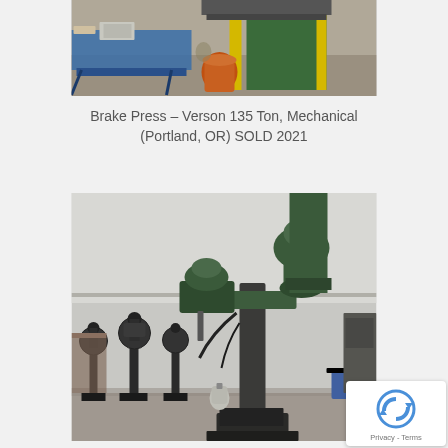[Figure (photo): Photo of a Brake Press machine (Verson 135 Ton, Mechanical) in an industrial workshop setting, viewed from above/side angle. Shows a large green press machine with a blue work table and an orange vacuum/dust collector nearby.]
Brake Press – Verson 135 Ton, Mechanical (Portland, OR) SOLD 2021
[Figure (photo): Photo of industrial drilling/machining equipment in a workshop. A large green radial arm drill press is prominent in the foreground center-right, with several smaller drill presses and machines visible in the background. The workshop has a concrete floor and white walls.]